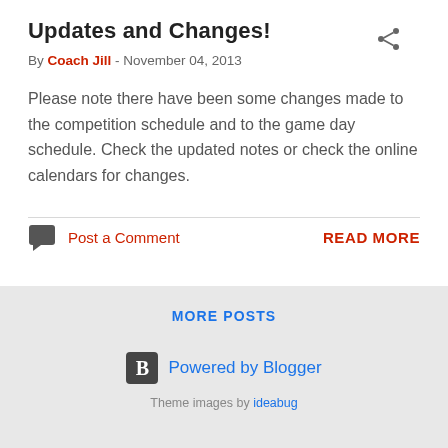Updates and Changes!
By Coach Jill - November 04, 2013
Please note there have been some changes made to the competition schedule and to the game day schedule. Check the updated notes or check the online calendars for changes.
Post a Comment
READ MORE
MORE POSTS
Powered by Blogger
Theme images by ideabug